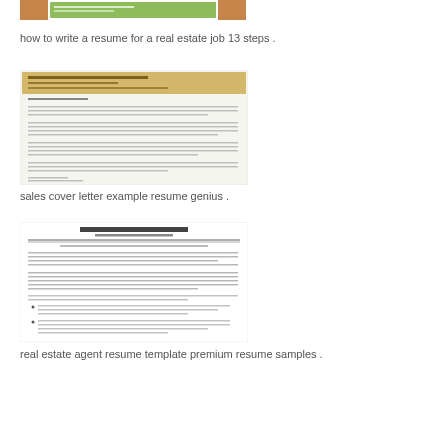[Figure (screenshot): Thumbnail of a real estate job resume article with brown/orange and green accents]
how to write a resume for a real estate job 13 steps .
[Figure (screenshot): Thumbnail of a sales cover letter example with yellow/gold header section and black text body]
sales cover letter example resume genius .
[Figure (screenshot): Thumbnail of a real estate agent resume template with 'FIRST NAME LAST NAME' header, formatted resume layout with bullet points]
real estate agent resume template premium resume samples .